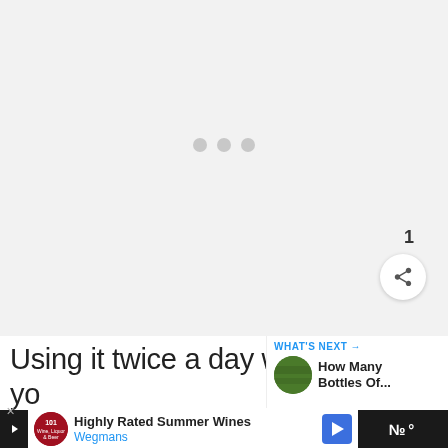[Figure (screenshot): Loading placeholder area with three grey dots centered, on a light grey background]
[Figure (infographic): Blue circular like/heart button with count '1' below it, and a share button (circle with share icon)]
Using it twice a day will make your glow like never before. No more anti-
[Figure (screenshot): What's Next panel with thumbnail image and title 'How Many Bottles Of...']
[Figure (screenshot): Advertisement bar: Highly Rated Summer Wines - Wegmans, with logo and arrow icon. Right side dark bar with audio/video icon.]